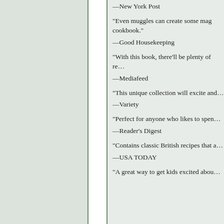—New York Post
“Even muggles can create some mag… cookbook.”
—Good Housekeeping
“With this book, there’ll be plenty of re…
—Mediafeed
“This unique collection will excite and…
—Variety
“Perfect for anyone who likes to spen…
—Reader’s Digest
“Contains classic British recipes that a…
—USA TODAY
“A great way to get kids excited abou…